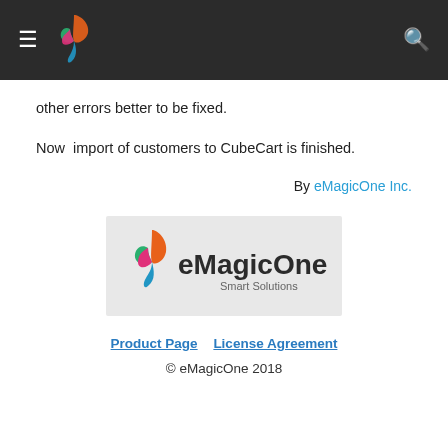eMagicOne navigation bar with logo and search icon
other errors better to be fixed.
Now  import of customers to CubeCart is finished.
By eMagicOne Inc.
[Figure (logo): eMagicOne Smart Solutions logo with colorful leaf/butterfly icon on grey background]
Product Page   License Agreement
© eMagicOne 2018